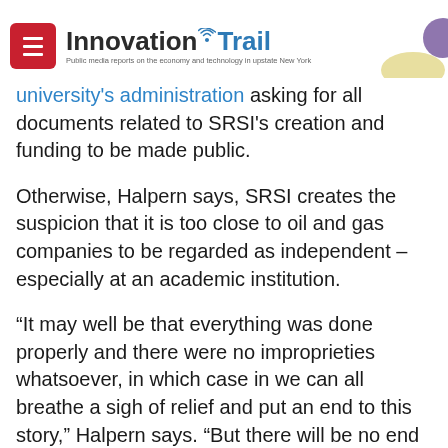Innovation Trail — Public media reports on the economy and technology in upstate New York
university's administration asking for all documents related to SRSI's creation and funding to be made public.
Otherwise, Halpern says, SRSI creates the suspicion that it is too close to oil and gas companies to be regarded as independent – especially at an academic institution.
“It may well be that everything was done properly and there were no improprieties whatsoever, in which case in we can all breathe a sigh of relief and put an end to this story,” Halpern says. “But there will be no end to this story until that kind of disclosure, in fact, occurs.”